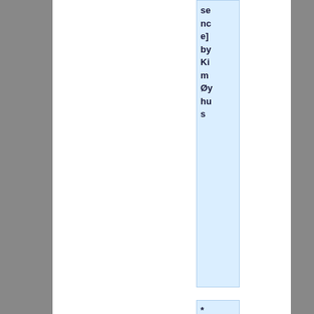se nc e] by Kim møy hu s
* [http://logbase2.blogspot.com/2009/